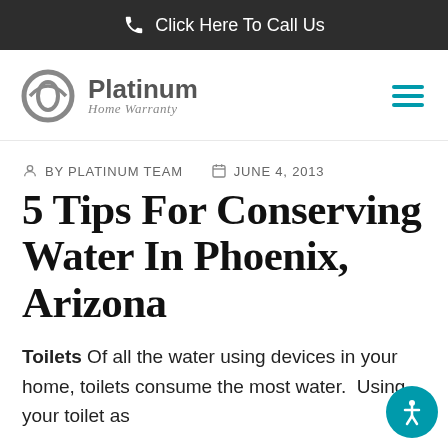Click Here To Call Us
[Figure (logo): Platinum Home Warranty logo with circular icon and hamburger menu icon]
BY PLATINUM TEAM   JUNE 4, 2013
5 Tips For Conserving Water In Phoenix, Arizona
Toilets Of all the water using devices in your home, toilets consume the most water. Using your toilet as